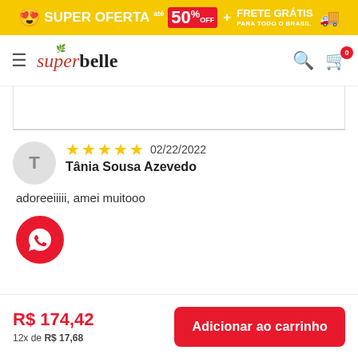[Figure (screenshot): Promotional banner with yellow background showing: emoji face with hearts, SUPER OFERTA text, até 50% OFF, + FRETE GRÁTIS PARA TODO O BRASIL with truck icon]
[Figure (screenshot): Superbelle e-commerce website navbar with hamburger menu, Superbelle logo, search icon, and cart icon with badge showing 0]
adoreeiiiii, amei muitooo
[Figure (logo): WhatsApp button (red circle with WhatsApp phone icon)]
R$ 174,42
12x de R$ 17,68
Adicionar ao carrinho